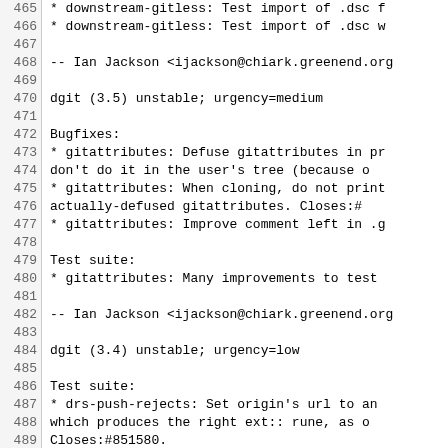Source code / changelog lines 465-494 showing dgit version entries
465   * downstream-gitless: Test import of .dsc f
466   * downstream-gitless: Test import of .dsc w
467
468  -- Ian Jackson <ijackson@chiark.greenend.org
469
470 dgit (3.5) unstable; urgency=medium
471
472   Bugfixes:
473   * gitattributes: Defuse gitattributes in pr
474     don't do it in the user's tree (because o
475   * gitattributes: When cloning, do not print
476     actually-defused gitattributes.  Closes:#
477   * gitattributes: Improve comment left in .g
478
479   Test suite:
480   * gitattributes: Many improvements to test
481
482  -- Ian Jackson <ijackson@chiark.greenend.org
483
484 dgit (3.4) unstable; urgency=low
485
486   Test suite:
487   * drs-push-rejects: Set origin's url to an
488     which produces the right ext:: rune, as o
489     Closes:#851580.
490   * Replace references to /home/ian in variou
491     references to /nonexistent, to catch inac
492
493  -- Ian Jackson <ijackson@chiark.greenend.org
494